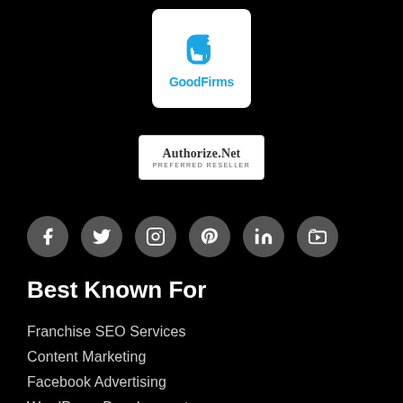[Figure (logo): GoodFirms logo badge with blue G icon and GoodFirms text on white rounded square background]
[Figure (logo): Authorize.Net Preferred Reseller badge on white background with border]
[Figure (infographic): Row of six circular social media icons: Facebook, Twitter, Instagram, Pinterest, LinkedIn, YouTube]
Best Known For
Franchise SEO Services
Content Marketing
Facebook Advertising
WordPress Development
Linkedin Advertising
Link Building Marketing